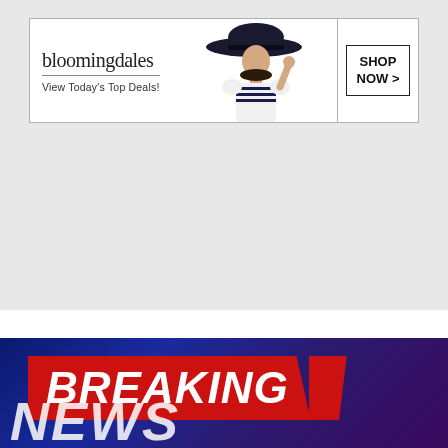[Figure (other): Bloomingdale's advertisement banner with logo, 'View Today's Top Deals!' tagline, a woman wearing a wide-brim hat, and a 'SHOP NOW >' call-to-action button.]
[Figure (other): Breaking News graphic with bold italic white text 'BREAKING' on red banner and partial 'NEWS' text below, on a dark blue gradient background.]